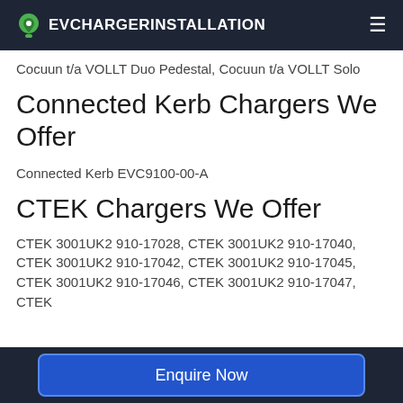EVCHARGERINSTALLATION
Cocuun t/a VOLLT Duo Pedestal, Cocuun t/a VOLLT Solo
Connected Kerb Chargers We Offer
Connected Kerb EVC9100-00-A
CTEK Chargers We Offer
CTEK 3001UK2 910-17028, CTEK 3001UK2 910-17040, CTEK 3001UK2 910-17042, CTEK 3001UK2 910-17045, CTEK 3001UK2 910-17046, CTEK 3001UK2 910-17047, CTEK